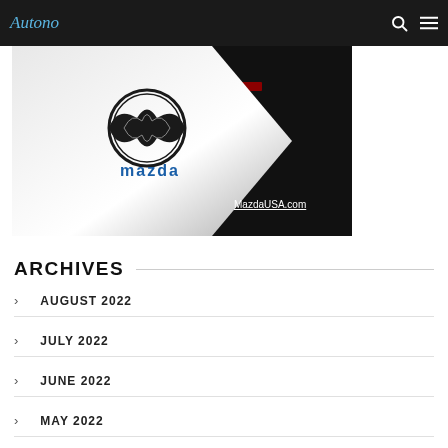Autono
[Figure (photo): Mazda advertisement banner showing Mazda logo on a white diamond shape against a black background with MazdaUSA.com text]
ARCHIVES
AUGUST 2022
JULY 2022
JUNE 2022
MAY 2022